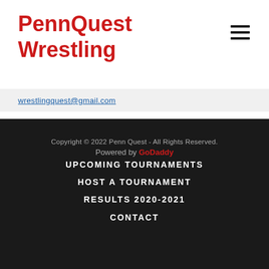PennQuest Wrestling
wrestlingquest@gmail.com
Copyright © 2022 Penn Quest - All Rights Reserved.
Powered by GoDaddy
UPCOMING TOURNAMENTS
HOST A TOURNAMENT
RESULTS 2020-2021
CONTACT